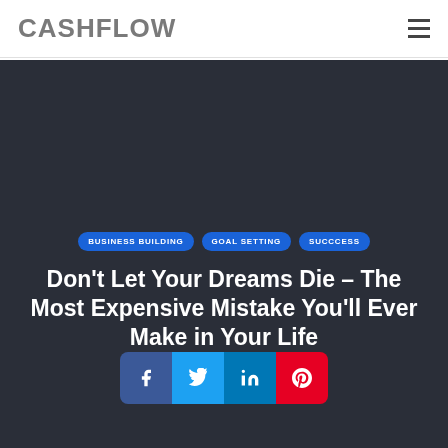CASHFLOW
[Figure (other): Dark hero background image area]
BUSINESS BUILDING   GOAL SETTING   SUCCCESS
Don't Let Your Dreams Die – The Most Expensive Mistake You'll Ever Make in Your Life
[Figure (infographic): Social share buttons: Facebook, Twitter, LinkedIn, Pinterest]